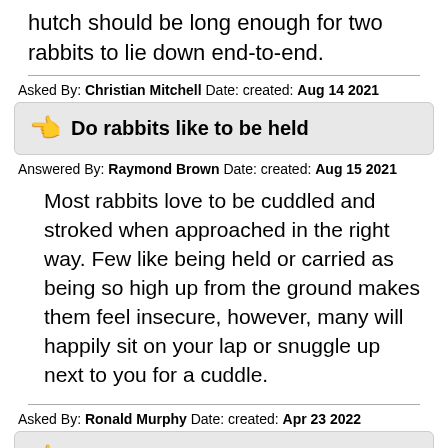hutch should be long enough for two rabbits to lie down end-to-end.
Asked By: Christian Mitchell Date: created: Aug 14 2021
Do rabbits like to be held
Answered By: Raymond Brown Date: created: Aug 15 2021
Most rabbits love to be cuddled and stroked when approached in the right way. Few like being held or carried as being so high up from the ground makes them feel insecure, however, many will happily sit on your lap or snuggle up next to you for a cuddle.
Asked By: Ronald Murphy Date: created: Apr 23 2022
Is it cruel to have one rabbit